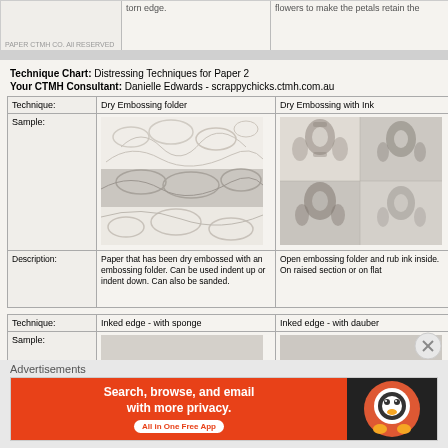|  | torn edge. | flowers to make the petals retain the |
| --- | --- | --- |
PAPER CTMH CO. All RESERVED
Technique Chart: Distressing Techniques for Paper 2
Your CTMH Consultant: Danielle Edwards - scrappychicks.ctmh.com.au
| Technique: | Dry Embossing folder | Dry Embossing with Ink |
| --- | --- | --- |
| Sample: | [embossed paper sample image] | [dry embossed with ink sample image] |
| Description: | Paper that has been dry embossed with an embossing folder. Can be used indent up or indent down. Can also be sanded. | Open embossing folder and rub ink inside. On raised section or on flat |
| Technique: | Inked edge - with sponge | Inked edge - with dauber |
| --- | --- | --- |
| Sample: | [sponge ink sample] | [dauber ink sample] |
Advertisements
[Figure (other): DuckDuckGo advertisement banner - Search, browse, and email with more privacy. All in One Free App.]